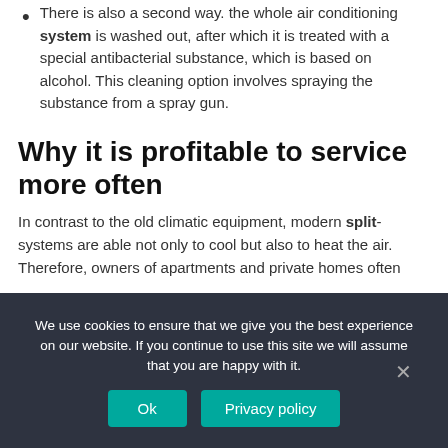There is also a second way. the whole air conditioning system is washed out, after which it is treated with a special antibacterial substance, which is based on alcohol. This cleaning option involves spraying the substance from a spray gun.
Why it is profitable to service more often
In contrast to the old climatic equipment, modern split-systems are able not only to cool but also to heat the air. Therefore, owners of apartments and private homes often
We use cookies to ensure that we give you the best experience on our website. If you continue to use this site we will assume that you are happy with it.